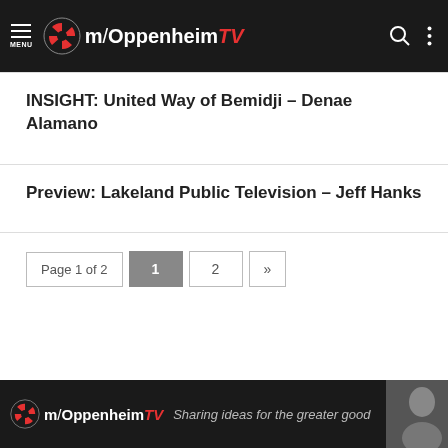m/OppenheimTV
INSIGHT: United Way of Bemidji – Denae Alamano
Preview: Lakeland Public Television – Jeff Hanks
Page 1 of 2  1  2  »
m/OppenheimTV  Sharing ideas for the greater good